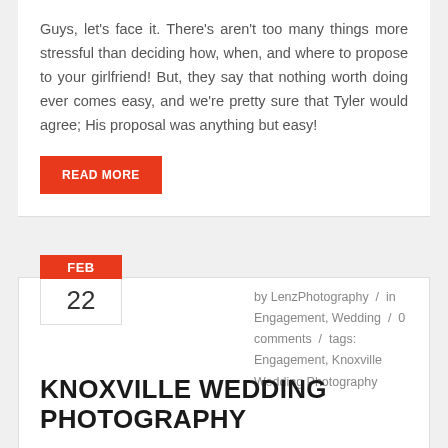Guys, let's face it. There's aren't too many things more stressful than deciding how, when, and where to propose to your girlfriend! But, they say that nothing worth doing ever comes easy, and we're pretty sure that Tyler would agree; His proposal was anything but easy!
READ MORE
FEB 22
by LenzPhotography / in Engagement, Wedding / 0 comments / tags: Engagement, Knoxville Wedding Photography
KNOXVILLE WEDDING PHOTOGRAPHY
Knoxville Wedding Photography & Engagement Portraits